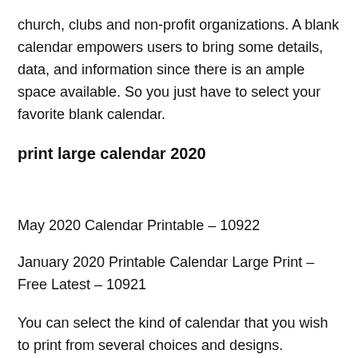church, clubs and non-profit organizations. A blank calendar empowers users to bring some details, data, and information since there is an ample space available. So you just have to select your favorite blank calendar.
print large calendar 2020
May 2020 Calendar Printable – 10922
January 2020 Printable Calendar Large Print – Free Latest – 10921
You can select the kind of calendar that you wish to print from several choices and designs. Calendars are the lone tool that is excellent for producing schedules and handling all of the everyday tasks, with no, everything looks messy